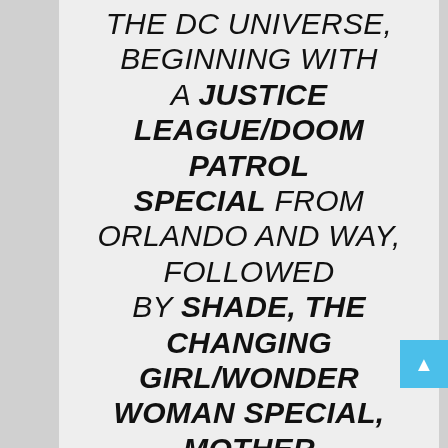THE DC UNIVERSE, BEGINNING WITH A JUSTICE LEAGUE/DOOM PATROL SPECIAL FROM ORLANDO AND WAY, FOLLOWED BY SHADE, THE CHANGING GIRL/WONDER WOMAN SPECIAL, MOTHER PANIC/BATMAN SPECIAL, CAVE